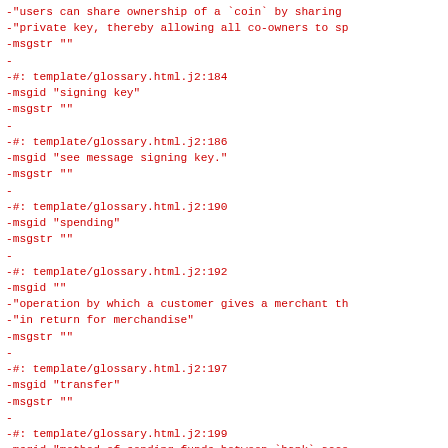-"users can share ownership of a `coin` by sharing
-"private key, thereby allowing all co-owners to sp
-msgstr ""
-
-#: template/glossary.html.j2:184
-msgid "signing key"
-msgstr ""
-
-#: template/glossary.html.j2:186
-msgid "see message signing key."
-msgstr ""
-
-#: template/glossary.html.j2:190
-msgid "spending"
-msgstr ""
-
-#: template/glossary.html.j2:192
-msgid ""
-"operation by which a customer gives a merchant th
-"in return for merchandise"
-msgstr ""
-
-#: template/glossary.html.j2:197
-msgid "transfer"
-msgstr ""
-
-#: template/glossary.html.j2:199
-msgid "method of sending funds between `bank` acco
-msgstr ""
-